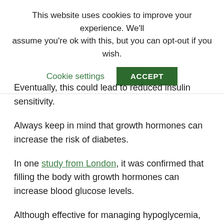This website uses cookies to improve your experience. We'll assume you're ok with this, but you can opt-out if you wish.
Cookie settings | ACCEPT
Eventually, this could lead to reduced insulin sensitivity.
Always keep in mind that growth hormones can increase the risk of diabetes.
In one study from London, it was confirmed that filling the body with growth hormones can increase blood glucose levels.
Although effective for managing hypoglycemia, the improper dosage of this drug can cause health dangers.